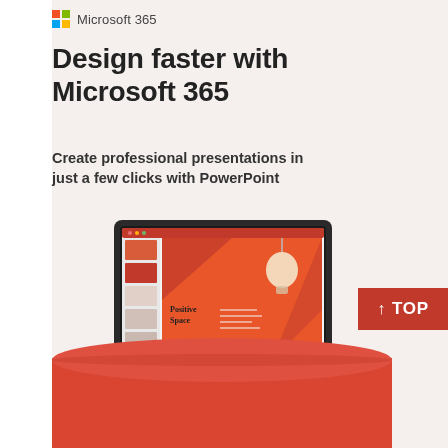Microsoft 365
Design faster with Microsoft 365
Create professional presentations in just a few clicks with PowerPoint
[Figure (screenshot): Laptop displaying Microsoft PowerPoint with 'Positive Space' presentation theme, showing a slide with an orange/red design and light bulb graphic, with thumbnail panel on the left side. The laptop sits on a red cylindrical gift box against a light background.]
↑ TOP